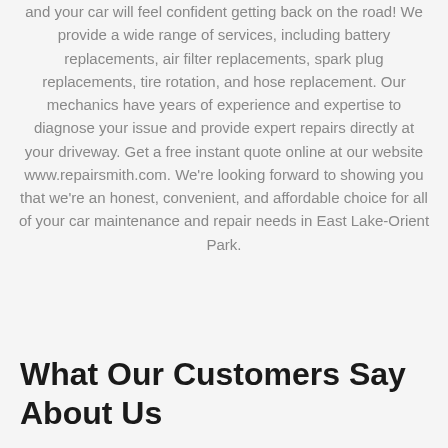and your car will feel confident getting back on the road! We provide a wide range of services, including battery replacements, air filter replacements, spark plug replacements, tire rotation, and hose replacement. Our mechanics have years of experience and expertise to diagnose your issue and provide expert repairs directly at your driveway. Get a free instant quote online at our website www.repairsmith.com. We're looking forward to showing you that we're an honest, convenient, and affordable choice for all of your car maintenance and repair needs in East Lake-Orient Park.
What Our Customers Say About Us